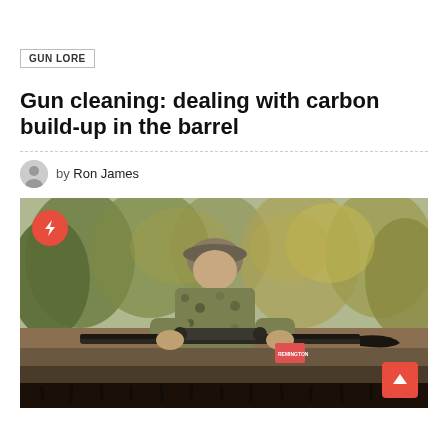GUN LORE
Gun cleaning: dealing with carbon build-up in the barrel
by Ron James
[Figure (photo): Man in camouflage clothing and cap holding a bolt-action rifle with scope, posing outdoors with trees in background. A lightning bolt icon badge is in the upper left corner and a scroll-up arrow button is in the lower right corner.]